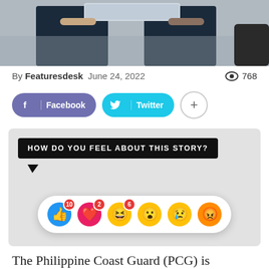[Figure (photo): Photograph of two people in dark uniforms, partially cropped, one holding a document or tablet]
By Featuresdesk  June 24, 2022   768 views
[Figure (screenshot): Social media share buttons: Facebook (purple), Twitter (cyan), and a plus button]
[Figure (infographic): Reaction widget with speech bubble 'HOW DO YOU FEEL ABOUT THIS STORY?' and emoji reactions: thumbs up (10), heart (2), haha (6), wow, sad, angry]
The Philippine Coast Guard (PCG) is